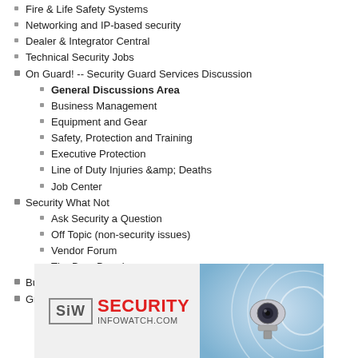Fire & Life Safety Systems
Networking and IP-based security
Dealer & Integrator Central
Technical Security Jobs
On Guard! -- Security Guard Services Discussion
General Discussions Area
Business Management
Equipment and Gear
Safety, Protection and Training
Executive Protection
Line of Duty Injuries &amp; Deaths
Job Center
Security What Not
Ask Security a Question
Off Topic (non-security issues)
Vendor Forum
The Burn Barrel
Bugs, Glitches and Site Fixes
Groups
Uncategorized Groups
Uncategorized
Hospital Security
Keep Kids Gang Free
Maritime Security
EMT's, MFR's, ECA's and Brigade
Albums
[Figure (logo): Security InfoWatch (SIW) advertisement banner with logo showing SIW in a box and SECURITY INFOWATCH.COM text in red, with a graphic of a surveillance camera on the right]